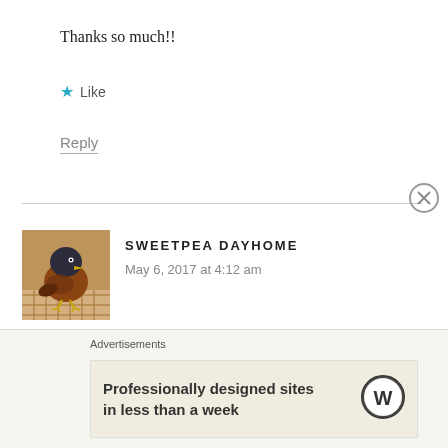Thanks so much!!
★ Like
Reply
SWEETPEA DAYHOME
May 6, 2017 at 4:12 am
[Figure (photo): Avatar photo of a small brown bird with dark head, perched, viewed from the side in a cage or enclosure]
I just found a rocker for free!!!!
Advertisements
Professionally designed sites in less than a week